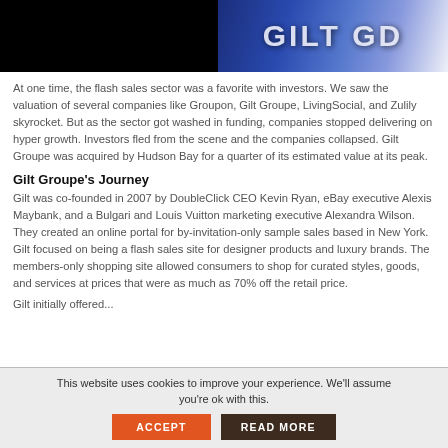[Figure (photo): Top banner image showing a logo or brand graphic with dark background and blue/white lettering on the right side]
At one time, the flash sales sector was a favorite with investors. We saw the valuation of several companies like Groupon, Gilt Groupe, LivingSocial, and Zulily skyrocket. But as the sector got washed in funding, companies stopped delivering on hyper growth. Investors fled from the scene and the companies collapsed. Gilt Groupe was acquired by Hudson Bay for a quarter of its estimated value at its peak.
Gilt Groupe's Journey
Gilt was co-founded in 2007 by DoubleClick CEO Kevin Ryan, eBay executive Alexis Maybank, and a Bulgari and Louis Vuitton marketing executive Alexandra Wilson. They created an online portal for by-invitation-only sample sales based in New York. Gilt focused on being a flash sales site for designer products and luxury brands. The members-only shopping site allowed consumers to shop for curated styles, goods, and services at prices that were as much as 70% off the retail price.
Gilt initially offered...
This website uses cookies to improve your experience. We'll assume you're ok with this.